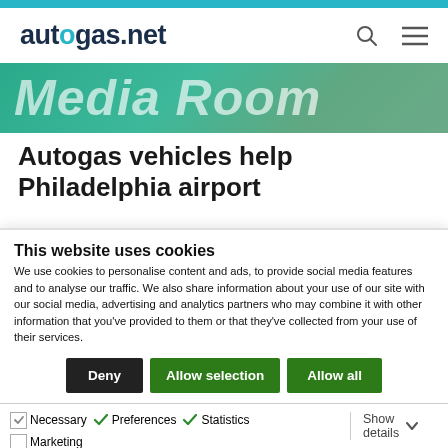autogas.net
[Figure (screenshot): Media Room banner with teal/green background and white italic bold text reading 'Media Room']
Autogas vehicles help Philadelphia airport
This website uses cookies
We use cookies to personalise content and ads, to provide social media features and to analyse our traffic. We also share information about your use of our site with our social media, advertising and analytics partners who may combine it with other information that you've provided to them or that they've collected from your use of their services.
Deny | Allow selection | Allow all
Necessary  Preferences  Statistics  Marketing  Show details